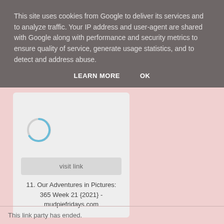This site uses cookies from Google to deliver its services and to analyze traffic. Your IP address and user-agent are shared with Google along with performance and security metrics to ensure quality of service, generate usage statistics, and to detect and address abuse.
LEARN MORE    OK
[Figure (other): Loading spinner (partial circle arc in blue/teal color) indicating content is loading]
visit link
11. Our Adventures in Pictures: 365 Week 21 {2021} - mudpiefridays.com
This link party has ended.